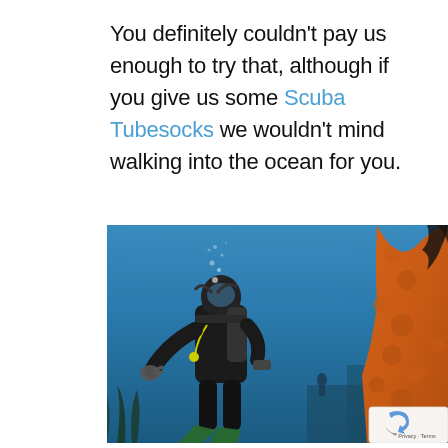You definitely couldn't pay us enough to try that, although if you give us some Scuba Tubesocks we wouldn't mind walking into the ocean for you.
[Figure (photo): Underwater photo of a scuba diver in black wetsuit and gear swimming near a large orange coral formation, with blue water background and another diver visible in the distance. A reCAPTCHA badge with Privacy and Terms links appears in the bottom right corner.]